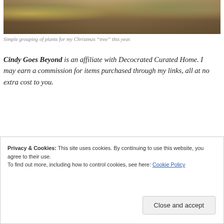[Figure (photo): Interior scene with plants, lanterns, and wooden floor, warm holiday lighting, Christmas plant grouping]
Simple grouping of plants for my Christmas “tree” this year.
Cindy Goes Beyond is an affiliate with Decocrated Curated Home. I may earn a commission for items purchased through my links, all at no extra cost to you.
Privacy & Cookies: This site uses cookies. By continuing to use this website, you agree to their use.
To find out more, including how to control cookies, see here: Cookie Policy